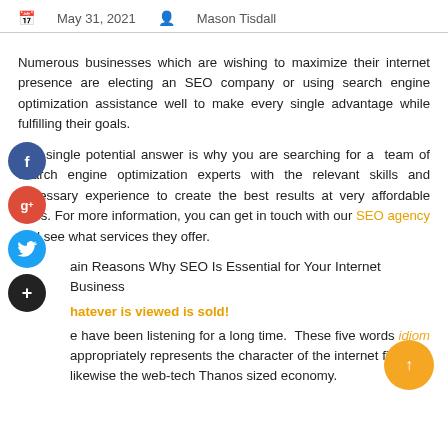May 31, 2021   Mason Tisdall
Numerous businesses which are wishing to maximize their internet presence are electing an SEO company or using search engine optimization assistance well to make every single advantage while fulfilling their goals.
The single potential answer is why you are searching for a team of search engine optimization experts with the relevant skills and necessary experience to create the best results at very affordable rates. For more information, you can get in touch with our SEO agency and see what services they offer.
Main Reasons Why SEO Is Essential for Your Internet Business
Whatever is viewed is sold!
We have been listening for a long time.  These five words idiom appropriately represents the character of the internet firm and likewise the web-tech Thanos sized economy.